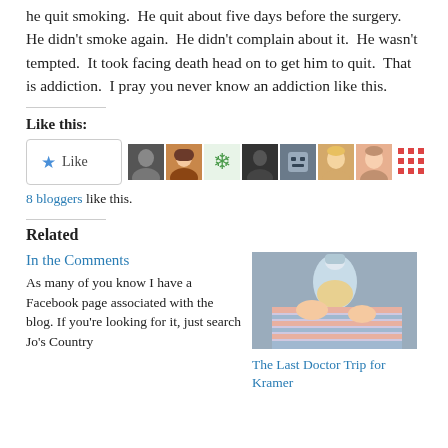he quit smoking.  He quit about five days before the surgery.  He didn't smoke again.  He didn't complain about it.  He wasn't tempted.  It took facing death head on to get him to quit.  That is addiction.  I pray you never know an addiction like this.
Like this:
[Figure (other): Like button with star icon and 8 blogger avatar thumbnails]
8 bloggers like this.
Related
In the Comments
As many of you know I have a Facebook page associated with the blog. If you're looking for it, just search Jo's Country
[Figure (photo): A baby being bottle-fed, wrapped in a striped blanket]
The Last Doctor Trip for Kramer